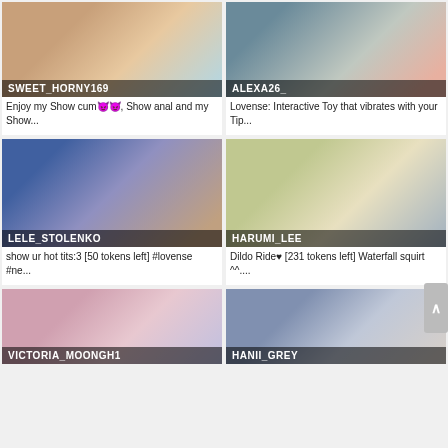[Figure (screenshot): Webcam thumbnail for SWEET_HORNY169]
SWEET_HORNY169
Enjoy my Show cum😈😈, Show anal and my Show...
[Figure (screenshot): Webcam thumbnail for ALEXA26_]
ALEXA26_
Lovense: Interactive Toy that vibrates with your Tip...
[Figure (screenshot): Webcam thumbnail for LELE_STOLENKO]
LELE_STOLENKO
show ur hot tits:3 [50 tokens left] #lovense #ne...
[Figure (screenshot): Webcam thumbnail for HARUMI_LEE]
HARUMI_LEE
Dildo Ride♥ [231 tokens left] Waterfall squirt ^^....
[Figure (screenshot): Webcam thumbnail for VICTORIA_MOONGH1]
VICTORIA_MOONGH1
[Figure (screenshot): Webcam thumbnail for HANII_GREY]
HANII_GREY